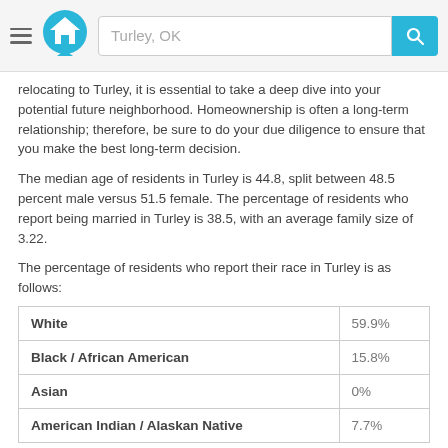Turley, OK
relocating to Turley, it is essential to take a deep dive into your potential future neighborhood. Homeownership is often a long-term relationship; therefore, be sure to do your due diligence to ensure that you make the best long-term decision.
The median age of residents in Turley is 44.8, split between 48.5 percent male versus 51.5 female. The percentage of residents who report being married in Turley is 38.5, with an average family size of 3.22.
The percentage of residents who report their race in Turley is as follows:
| Race | Percentage |
| --- | --- |
| White | 59.9% |
| Black / African American | 15.8% |
| Asian | 0% |
| American Indian / Alaskan Native | 7.7% |